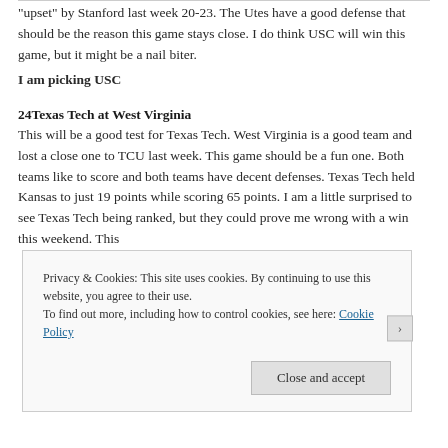"upset" by Stanford last week 20-23. The Utes have a good defense that should be the reason this game stays close. I do think USC will win this game, but it might be a nail biter.
I am picking USC
24Texas Tech at West Virginia
This will be a good test for Texas Tech. West Virginia is a good team and lost a close one to TCU last week. This game should be a fun one. Both teams like to score and both teams have decent defenses. Texas Tech held Kansas to just 19 points while scoring 65 points. I am a little surprised to see Texas Tech being ranked, but they could prove me wrong with a win this weekend. This
Privacy & Cookies: This site uses cookies. By continuing to use this website, you agree to their use.
To find out more, including how to control cookies, see here: Cookie Policy